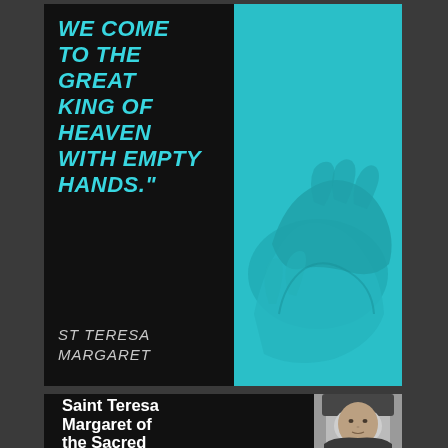[Figure (infographic): Inspirational quote card with black left panel containing cyan handwritten-style text reading 'We come to the great king of heaven with empty hands.' with attribution 'ST TERESA MARGARET', and a teal-tinted right panel showing open cupped hands photo]
Saint Teresa Margaret of the Sacred
[Figure (photo): Black and white portrait photo of Saint Teresa Margaret wearing a nun's habit]